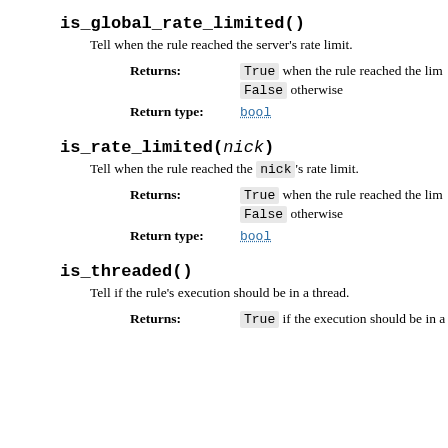is_global_rate_limited()
Tell when the rule reached the server's rate limit.
Returns: True when the rule reached the lim... False otherwise
Return type: bool
is_rate_limited(nick)
Tell when the rule reached the nick's rate limit.
Returns: True when the rule reached the lim... False otherwise
Return type: bool
is_threaded()
Tell if the rule's execution should be in a thread.
Returns: True if the execution should be in a